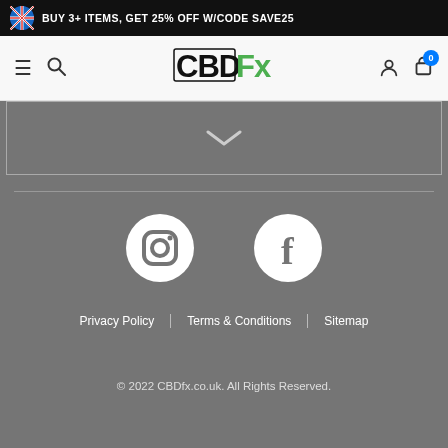BUY 3+ ITEMS, GET 25% OFF W/CODE SAVE25
[Figure (logo): CBDfx logo with black CBD text and green Fx lettering]
[Figure (illustration): Accordion chevron arrow pointing down on gray background]
[Figure (illustration): Instagram icon (white circle with camera outline)]
[Figure (illustration): Facebook icon (white circle with f letter)]
Privacy Policy | Terms & Conditions | Sitemap
© 2022 CBDfx.co.uk. All Rights Reserved.